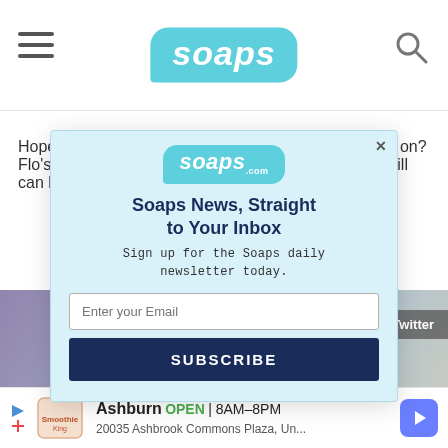soaps
Hope's faces and they just need to get past it & move on? Flo's done nothing to deserve a 2nd cha... If t... can hire her a... eautiful forces it t...
[Figure (screenshot): Newsletter signup modal popup with soaps.com logo, title 'Soaps News, Straight to Your Inbox', email input field, and SUBSCRIBE button]
[Figure (photo): Video thumbnail with play button and Twitter badge overlay]
Ashburn OPEN 8AM–8PM 20035 Ashbrook Commons Plaza, Un...